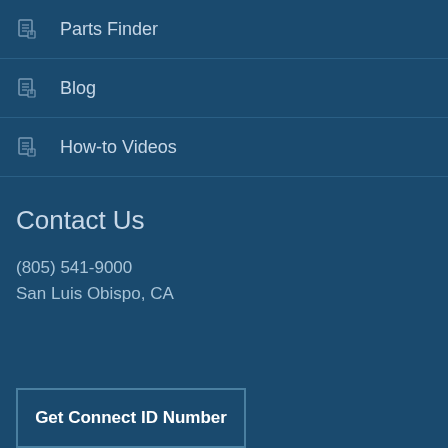Parts Finder
Blog
How-to Videos
Contact Us
(805) 541-9000
San Luis Obispo, CA
Get Connect ID Number